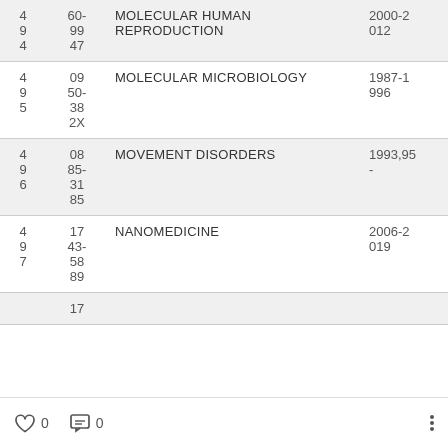| # | ID | Title | Years |
| --- | --- | --- | --- |
| 4
9
4 | 60-
99
47 | MOLECULAR HUMAN REPRODUCTION | 2000-2
012 |
| 4
9
5 | 09
50-
38
2X | MOLECULAR MICROBIOLOGY | 1987-1
996 |
| 4
9
6 | 08
85-
31
85 | MOVEMENT DISORDERS | 1993,95
- |
| 4
9
7 | 17
43-
58
89 | NANOMEDICINE | 2006-2
019 |
|  | 17 |  |  |
0   0